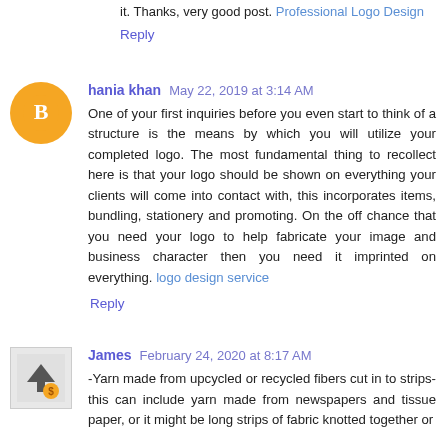it. Thanks, very good post. Professional Logo Design
Reply
hania khan  May 22, 2019 at 3:14 AM
One of your first inquiries before you even start to think of a structure is the means by which you will utilize your completed logo. The most fundamental thing to recollect here is that your logo should be shown on everything your clients will come into contact with, this incorporates items, bundling, stationery and promoting. On the off chance that you need your logo to help fabricate your image and business character then you need it imprinted on everything. logo design service
Reply
James  February 24, 2020 at 8:17 AM
-Yarn made from upcycled or recycled fibers cut in to strips- this can include yarn made from newspapers and tissue paper, or it might be long strips of fabric knotted together or